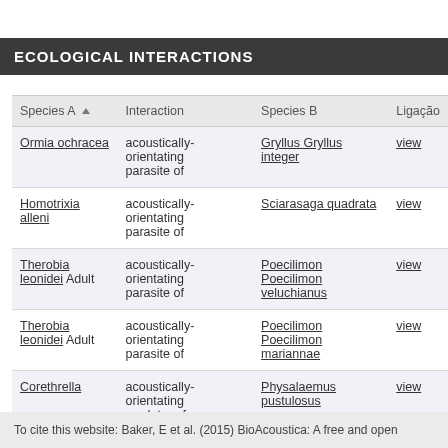ECOLOGICAL INTERACTIONS
| Species A | Interaction | Species B | Ligação |
| --- | --- | --- | --- |
| Ormia ochracea | acoustically-orientating parasite of | Gryllus Gryllus integer | view |
| Homotrixia alleni | acoustically-orientating parasite of | Sciarasaga quadrata | view |
| Therobia leonidei Adult | acoustically-orientating parasite of | Poecilimon Poecilimon veluchianus | view |
| Therobia leonidei Adult | acoustically-orientating parasite of | Poecilimon Poecilimon mariannae | view |
| Corethrella | acoustically-orientating predator of | Physalaemus pustulosus | view |
To cite this website: Baker, E et al. (2015) BioAcoustica: A free and open